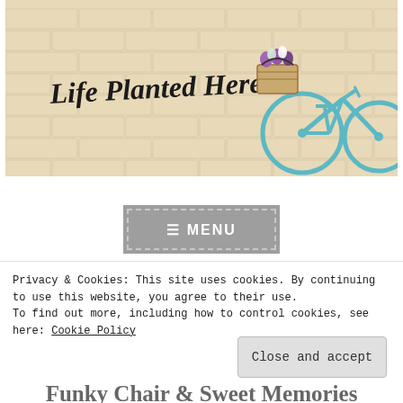[Figure (photo): Blog header image showing a light-teal vintage bicycle with a basket of purple and white flowers leaning against a cream/tan brick wall. Text overlay reads 'Life Planted Here' in a handwritten-style font.]
[Figure (screenshot): Menu navigation button with hamburger icon and text 'MENU' in white on grey background, with dashed border outline.]
Privacy & Cookies: This site uses cookies. By continuing to use this website, you agree to their use.
To find out more, including how to control cookies, see here: Cookie Policy
Close and accept
Funky Chair & Sweet Memories